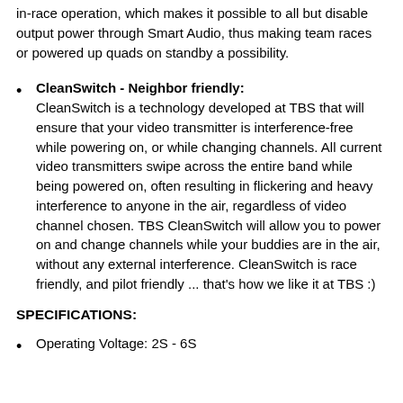Additionally, Pitmode functionality has been opened up to in-race operation, which makes it possible to all but disable output power through Smart Audio, thus making team races or powered up quads on standby a possibility.
CleanSwitch - Neighbor friendly: CleanSwitch is a technology developed at TBS that will ensure that your video transmitter is interference-free while powering on, or while changing channels. All current video transmitters swipe across the entire band while being powered on, often resulting in flickering and heavy interference to anyone in the air, regardless of video channel chosen. TBS CleanSwitch will allow you to power on and change channels while your buddies are in the air, without any external interference. CleanSwitch is race friendly, and pilot friendly ... that's how we like it at TBS :)
SPECIFICATIONS:
Operating Voltage: 2S - 6S